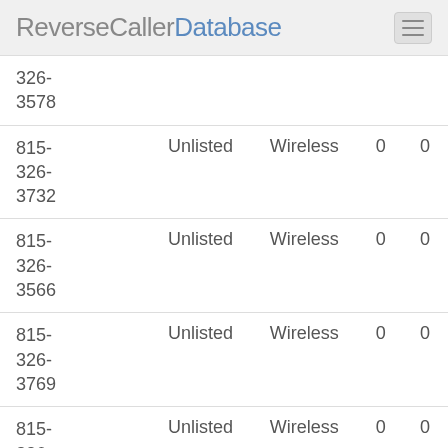ReverseCallerDatabase
| 326-
3578 |  |  |  |  |
| 815-
326-
3732 | Unlisted | Wireless | 0 | 0 |
| 815-
326-
3566 | Unlisted | Wireless | 0 | 0 |
| 815-
326-
3769 | Unlisted | Wireless | 0 | 0 |
| 815-
326-
3194 | Unlisted | Wireless | 0 | 0 |
| 815-
326-
3449 | Unlisted | Wireless | 0 | 0 |